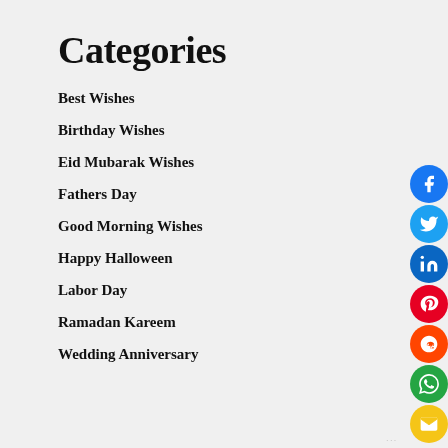Categories
Best Wishes
Birthday Wishes
Eid Mubarak Wishes
Fathers Day
Good Morning Wishes
Happy Halloween
Labor Day
Ramadan Kareem
Wedding Anniversary
[Figure (infographic): Vertical stack of social media share buttons: Facebook (blue), Twitter (light blue), LinkedIn (dark blue), Pinterest (red), Reddit (orange), WhatsApp (green), Email (yellow)]
...